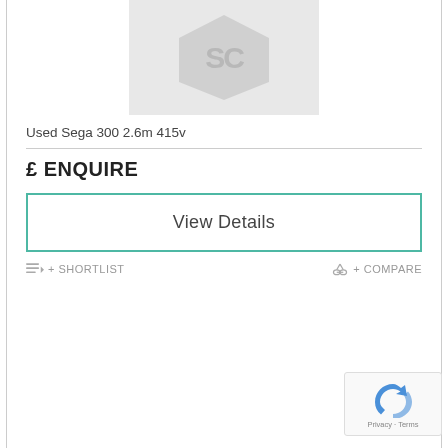[Figure (logo): Grey hexagonal logo placeholder with 'SC' letters inside]
Used Sega 300 2.6m 415v
£ ENQUIRE
View Details
+ SHORTLIST
+ COMPARE
[Figure (logo): Google reCAPTCHA badge with Privacy - Terms text]